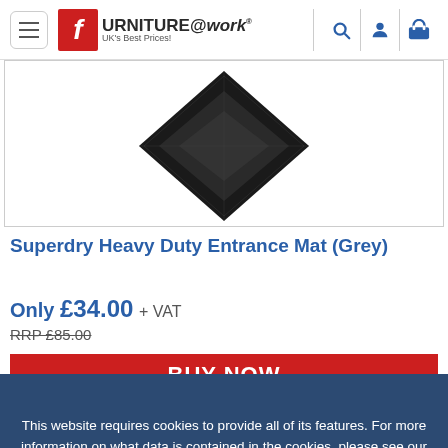Furniture@work - UK's Best Prices!
[Figure (photo): Product photo of a heavy duty entrance mat showing its corner with dark rubber backing, viewed from above on white background]
Superdry Heavy Duty Entrance Mat (Grey)
Only £34.00 + VAT
RRP £85.00
BUY NOW
This website requires cookies to provide all of its features. For more information on what data is contained in the cookies, please see our Cookie Information page. To accept cookies from this site, please click the Allow button.
ALLOW